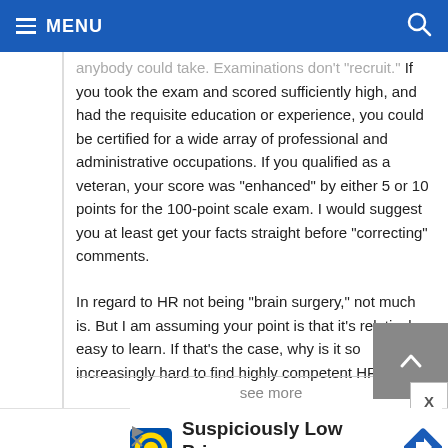MENU
anybody could take. Examinations don't "recruit." If you took the exam and scored sufficiently high, and had the requisite education or experience, you could be certified for a wide array of professional and administrative occupations.  If you qualified as a veteran, your score was "enhanced" by either 5 or 10 points for the 100-point scale exam.  I would suggest you at least get your facts straight before "correcting" comments.
In regard to HR not being "brain surgery," not much is.  But I am assuming your point is that it's relatively easy to learn.  If that's the case, why is it so increasingly hard to find highly competent HR
see more
[Figure (infographic): Lidl advertisement: Suspiciously Low Prices with Lidl logo and navigation arrow icon]
Suspiciously Low Prices
Lidl